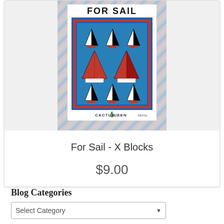[Figure (photo): Product image of a sailboat quilt pattern booklet by Cactus Queen. The cover shows a nautical quilt with multiple sailboat blocks on a blue background, surrounded by a red border and a diagonal striped outer border in blue, pink, and gray. Text at top reads 'FOR SAIL' and publisher logo 'CACTUS QUEEN' appears at the bottom.]
For Sail - X Blocks
$9.00
Blog Categories
Select Category